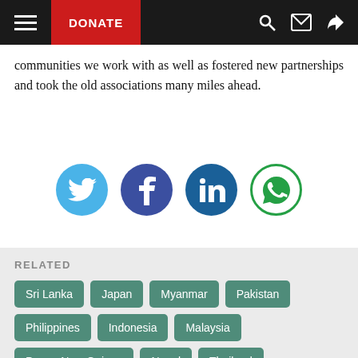DONATE [navigation bar with hamburger menu, search, email, share icons]
communities we work with as well as fostered new partnerships and took the old associations many miles ahead.
[Figure (illustration): Social media share icons: Twitter (blue circle), Facebook (dark blue circle), LinkedIn (dark blue circle), WhatsApp (green circle with white background)]
RELATED
Sri Lanka
Japan
Myanmar
Pakistan
Philippines
Indonesia
Malaysia
Papua New Guinea
Nepal
Thailand
Missing persons
Health
Mine action
Economic security